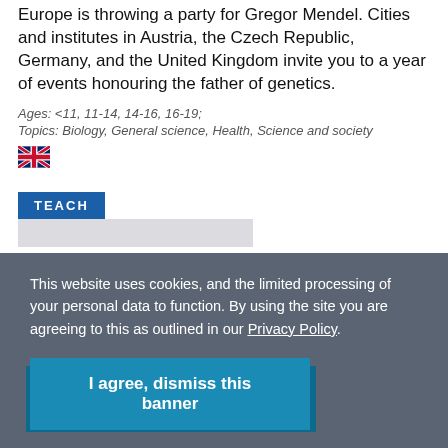Europe is throwing a party for Gregor Mendel. Cities and institutes in Austria, the Czech Republic, Germany, and the United Kingdom invite you to a year of events honouring the father of genetics.
Ages: <11, 11-14, 14-16, 16-19;
Topics: Biology, General science, Health, Science and society
[Figure (illustration): UK flag icon]
TEACH
[Figure (other): Grey bar below TEACH badge, partially visible content]
This website uses cookies, and the limited processing of your personal data to function. By using the site you are agreeing to this as outlined in our Privacy Policy.
I agree, dismiss this banner